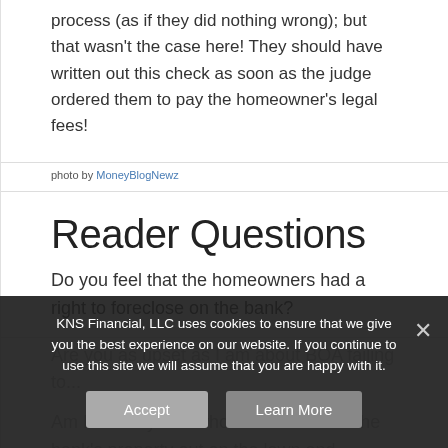process (as if they did nothing wrong); but that wasn't the case here! They should have written out this check as soon as the judge ordered them to pay the homeowner's legal fees!
photo by MoneyBlogNewz
Reader Questions
Do you feel that the homeowners had a right to foreclose on the bank?
Are you as upset as I am about BOA failing to...
Am I the only one who wanted to toss the banks property out on the lawn and sidewalk?
KNS Financial, LLC uses cookies to ensure that we give you the best experience on our website. If you continue to use this site we will assume that you are happy with it.